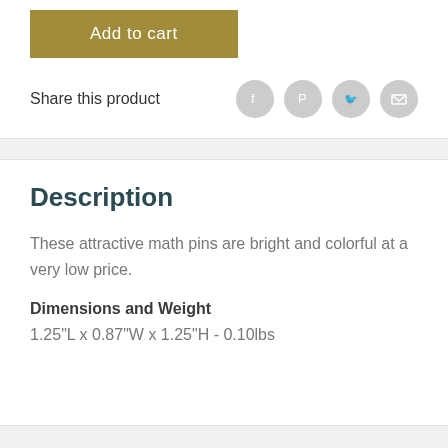[Figure (other): Add to cart button with olive/gold background color]
Share this product
[Figure (other): Social media sharing icons: Facebook, Pinterest, Twitter, Email]
Description
These attractive math pins are bright and colorful at a very low price.
Dimensions and Weight
1.25"L x 0.87"W x 1.25"H - 0.10lbs